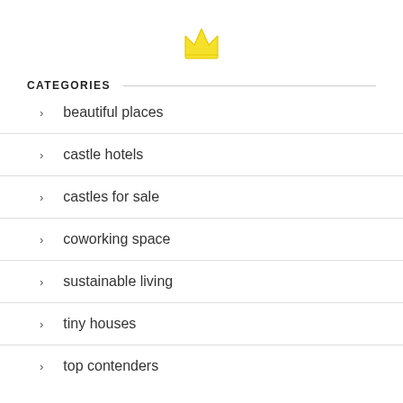[Figure (logo): Yellow crown icon centered at top of page]
CATEGORIES
beautiful places
castle hotels
castles for sale
coworking space
sustainable living
tiny houses
top contenders